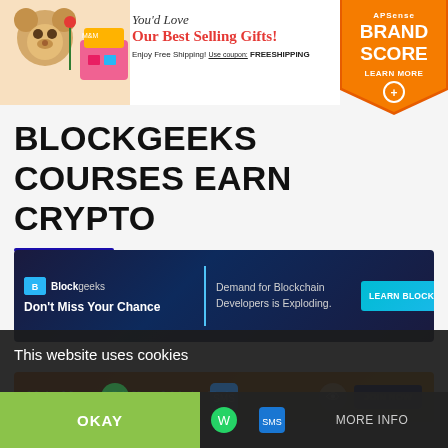[Figure (illustration): Top banner advertisement: teddy bear with gifts on left, text 'You'd Love Our Best Selling Gifts! Enjoy Free Shipping! Use coupon: FREESHIPPING' on right]
[Figure (logo): APSense Brand Score badge - orange pentagon shape with 'APSense BRAND SCORE LEARN MORE' text and plus icon]
BLOCKGEEKS COURSES EARN CRYPTO
[Figure (illustration): Blockgeeks advertisement banner: dark blue background with logo, tagline 'Don't Miss Your Chance', 'Demand for Blockchain Developers is Exploding.', and 'LEARN BLOCKCHAIN TODAY >' button]
[Figure (illustration): Partially visible orange advertisement banner with 'Make Money With Your Website Today' text and 'JOIN NOW' button]
This website uses cookies
OKAY
MORE INFO